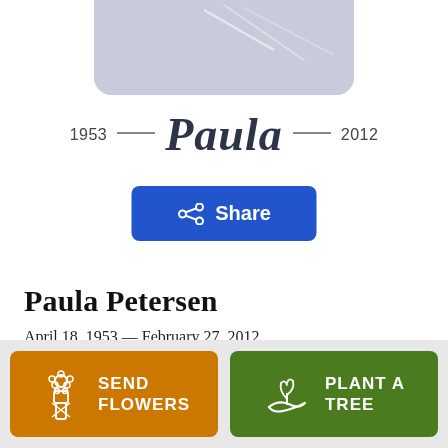[Figure (photo): Partial photo placeholder with light gray-blue background and faint decorative lines, rounded bottom corners]
1953 — Paula — 2012
Share
Paula Petersen
April 18, 1953 — February 27, 2012
SEND FLOWERS
PLANT A TREE